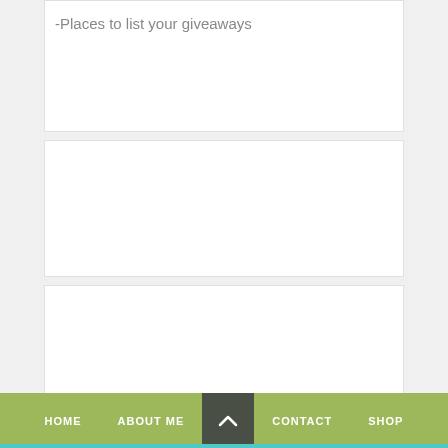-Places to list your giveaways
[Figure (other): Empty white card block 2]
[Figure (other): Empty white card block 3]
HOME   ABOUT ME   CONTACT   SHOP